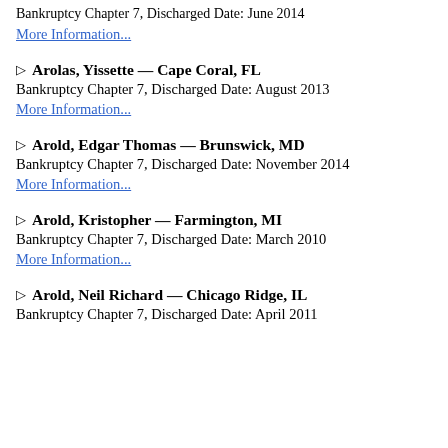Bankruptcy Chapter 7, Discharged Date: June 2014
More Information...
▷ Arolas, Yissette — Cape Coral, FL
Bankruptcy Chapter 7, Discharged Date: August 2013
More Information...
▷ Arold, Edgar Thomas — Brunswick, MD
Bankruptcy Chapter 7, Discharged Date: November 2014
More Information...
▷ Arold, Kristopher — Farmington, MI
Bankruptcy Chapter 7, Discharged Date: March 2010
More Information...
▷ Arold, Neil Richard — Chicago Ridge, IL
Bankruptcy Chapter 7, Discharged Date: April 2011